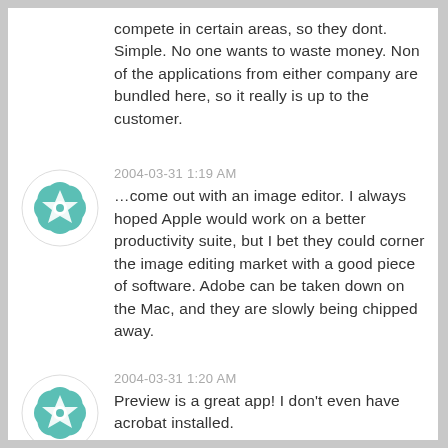compete in certain areas, so they dont. Simple. No one wants to waste money. Non of the applications from either company are bundled here, so it really is up to the customer.
2004-03-31 1:19 AM
…come out with an image editor. I always hoped Apple would work on a better productivity suite, but I bet they could corner the image editing market with a good piece of software. Adobe can be taken down on the Mac, and they are slowly being chipped away.
2004-03-31 1:20 AM
Preview is a great app! I don't even have acrobat installed.